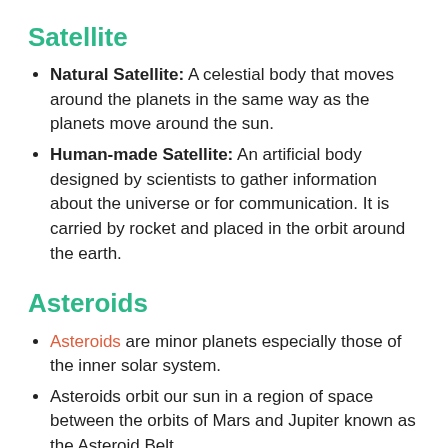Satellite
Natural Satellite: A celestial body that moves around the planets in the same way as the planets move around the sun.
Human-made Satellite: An artificial body designed by scientists to gather information about the universe or for communication. It is carried by rocket and placed in the orbit around the earth.
Asteroids
Asteroids are minor planets especially those of the inner solar system.
Asteroids orbit our sun in a region of space between the orbits of Mars and Jupiter known as the Asteroid Belt.